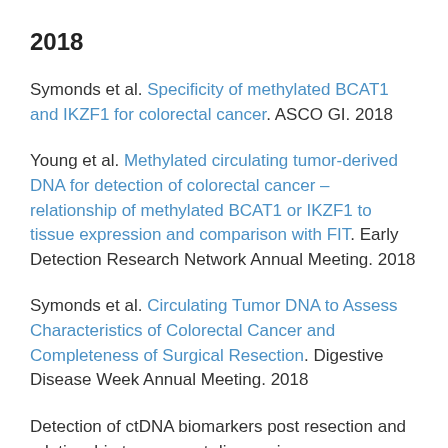2018
Symonds et al. Specificity of methylated BCAT1 and IKZF1 for colorectal cancer. ASCO GI. 2018
Young et al. Methylated circulating tumor-derived DNA for detection of colorectal cancer – relationship of methylated BCAT1 or IKZF1 to tissue expression and comparison with FIT. Early Detection Research Network Annual Meeting. 2018
Symonds et al. Circulating Tumor DNA to Assess Characteristics of Colorectal Cancer and Completeness of Surgical Resection. Digestive Disease Week Annual Meeting. 2018
Detection of ctDNA biomarkers post resection and relationship to recurrent disease in